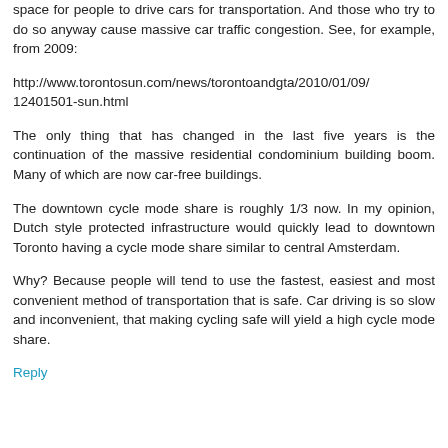space for people to drive cars for transportation. And those who try to do so anyway cause massive car traffic congestion. See, for example, from 2009:
http://www.torontosun.com/news/torontoandgta/2010/01/09/12401501-sun.html
The only thing that has changed in the last five years is the continuation of the massive residential condominium building boom. Many of which are now car-free buildings.
The downtown cycle mode share is roughly 1/3 now. In my opinion, Dutch style protected infrastructure would quickly lead to downtown Toronto having a cycle mode share similar to central Amsterdam.
Why? Because people will tend to use the fastest, easiest and most convenient method of transportation that is safe. Car driving is so slow and inconvenient, that making cycling safe will yield a high cycle mode share.
Reply